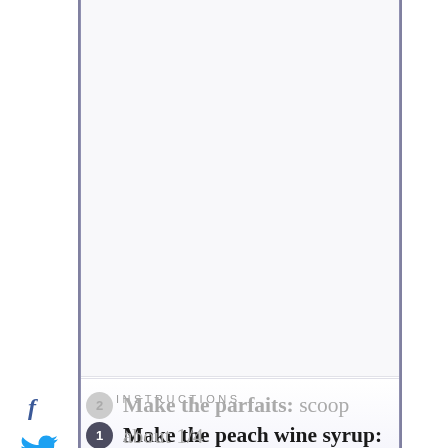[Figure (other): Top portion of a recipe webpage showing a food image area (cropped/white) above the instructions section]
INSTRUCTIONS
Make the peach wine syrup: Heat the wine and sugar in a small sauce pan over medium high heat. Bring it to a simmer and let it bubble until the sugar has dissolved. Transfer to a container and place it in the refrigerator to chill
Make the parfaits: scoop about 1/4